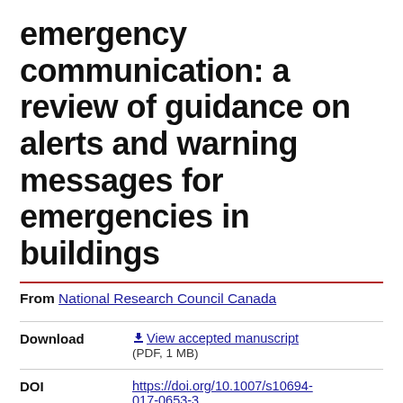emergency communication: a review of guidance on alerts and warning messages for emergencies in buildings
From National Research Council Canada
| Field | Value |
| --- | --- |
| Download | View accepted manuscript (PDF, 1 MB) |
| DOI | https://doi.org/10.1007/s10694-017-0653-3 |
| Author | Omori, Hidemi; Kuligowski, Erica D.; |